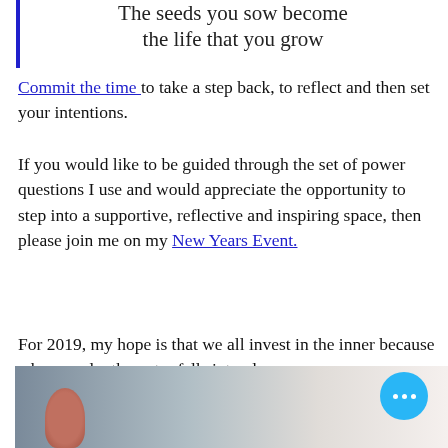the seeds you sow become the life that you grow
Commit the time to take a step back, to reflect and then set your intentions.
If you would like to be guided through the set of power questions I use and would appreciate the opportunity to step into a supportive, reflective and inspiring space, then please join me on my New Years Event.
For 2019, my hope is that we all invest in the inner because when we do, the outer falls into place.
[Figure (photo): Blurred photo of a hand/finger against a light background, with a blue circle button with three dots in the bottom right corner]